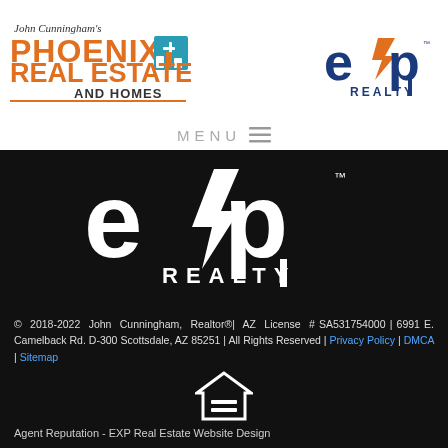[Figure (logo): John Cunningham's Phoenix Real Estate and Homes logo with orange text and desert/city icons]
[Figure (logo): eXp Realty logo in blue and orange on white background]
MENU ≡
[Figure (logo): eXp Realty logo in white on black background]
© 2018-2022 John Cunningham, Realtor® | AZ License # SA531754000 | 6991 E. Camelback Rd. D-300 Scottsdale, AZ 85251 | All Rights Reserved | Privacy Policy | DMCA | Sitemap
[Figure (logo): Equal Housing Opportunity logo]
Agent Reputation - EXP Real Estate Website Design